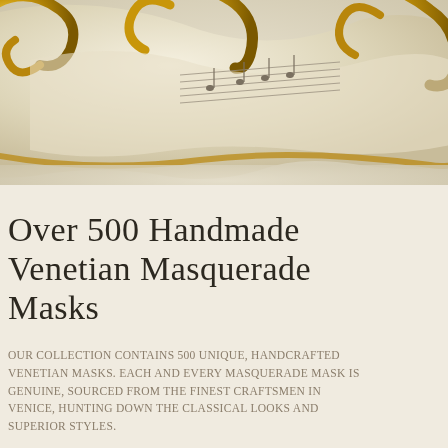[Figure (photo): Close-up of an ornate gold and ivory Venetian masquerade mask with decorative scrollwork and musical notation visible on the surface, cropped at the top of the page]
Over 500 Handmade Venetian Masquerade Masks
Our collection contains 500 unique, handcrafted Venetian masks. Each and every masquerade mask is genuine, sourced from the finest craftsmen in Venice, hunting down the classical looks and superior styles.
Browse Our Full Collection ›
[Figure (illustration): Large decorative quotation mark graphic at bottom of page]